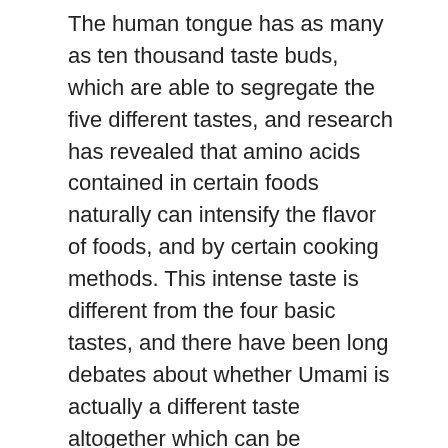The human tongue has as many as ten thousand taste buds, which are able to segregate the five different tastes, and research has revealed that amino acids contained in certain foods naturally can intensify the flavor of foods, and by certain cooking methods. This intense taste is different from the four basic tastes, and there have been long debates about whether Umami is actually a different taste altogether which can be experienced singularly or is actually an amalgamation of multiple sensations caused simultaneously. It needs to be clarified that ‘taste’ is actually based on one, singular sensation, while flavor stems from a combination of multiple sensations. Being very subtle, umami was, for a long time, perceived as a taste enhancer of certain food elements and not so much as a distinct isolated taste.
Though first discovered in 1908, by a Japanese scientist Kikunae Ikeda, it got official recognition only 82 years later, the fifth taste in 1990, finally acknowledged rightful...